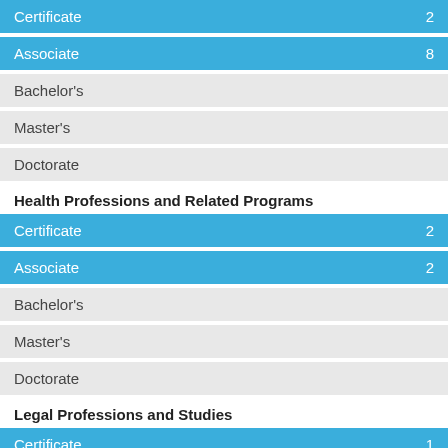Certificate 2
Associate 8
Bachelor's
Master's
Doctorate
Health Professions and Related Programs
Certificate 2
Associate 2
Bachelor's
Master's
Doctorate
Legal Professions and Studies
Certificate 1
Associate 1